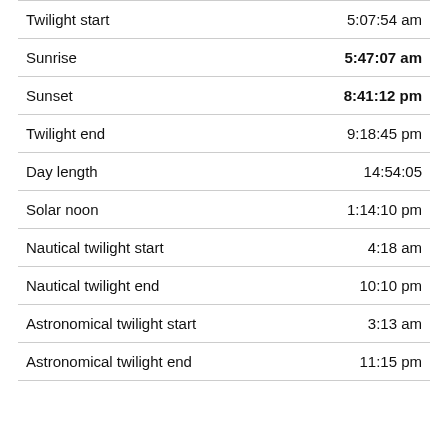| Event | Time |
| --- | --- |
| Twilight start | 5:07:54 am |
| Sunrise | 5:47:07 am |
| Sunset | 8:41:12 pm |
| Twilight end | 9:18:45 pm |
| Day length | 14:54:05 |
| Solar noon | 1:14:10 pm |
| Nautical twilight start | 4:18 am |
| Nautical twilight end | 10:10 pm |
| Astronomical twilight start | 3:13 am |
| Astronomical twilight end | 11:15 pm |